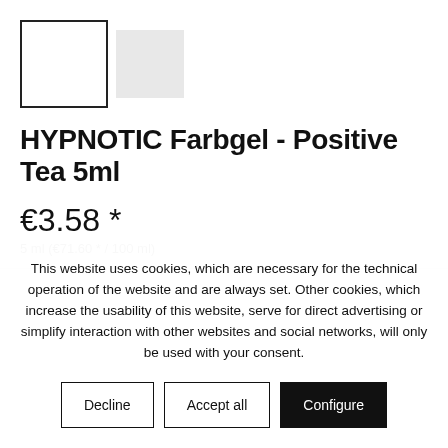[Figure (photo): Two thumbnail images of a product: one larger with a black border, one smaller with a light grey fill]
HYPNOTIC Farbgel - Positive Tea 5ml
€3.58 *
5 ml (€71.60 * / 100 ml)
This website uses cookies, which are necessary for the technical operation of the website and are always set. Other cookies, which increase the usability of this website, serve for direct advertising or simplify interaction with other websites and social networks, will only be used with your consent.
Decline | Accept all | Configure